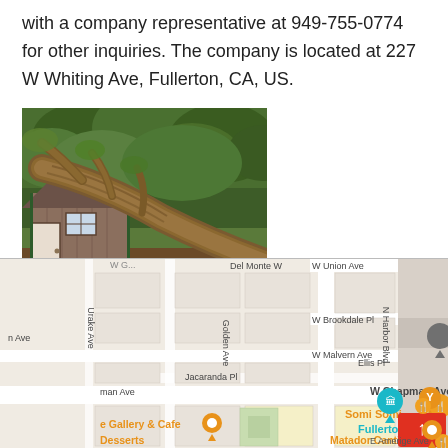with a company representative at 949-755-0774 for other inquiries. The company is located at 227 W Whiting Ave, Fullerton, CA, US.
[Figure (photo): A large fallen tree crushing the roof of a small brown shed/outbuilding, with green trees in the background.]
[Figure (map): Google Maps screenshot showing the area around W Chapman Ave and N Harbor Blvd in Fullerton, CA, with markers for Somi Somi, Fullerton, Matador Cantina, and a Gallery & Cafe.]